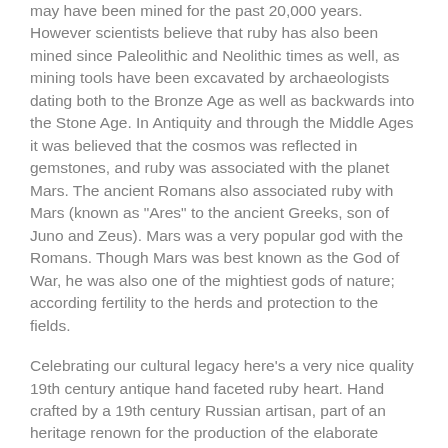may have been mined for the past 20,000 years. However scientists believe that ruby has also been mined since Paleolithic and Neolithic times as well, as mining tools have been excavated by archaeologists dating both to the Bronze Age as well as backwards into the Stone Age. In Antiquity and through the Middle Ages it was believed that the cosmos was reflected in gemstones, and ruby was associated with the planet Mars. The ancient Romans also associated ruby with Mars (known as "Ares" to the ancient Greeks, son of Juno and Zeus). Mars was a very popular god with the Romans. Though Mars was best known as the God of War, he was also one of the mightiest gods of nature; according fertility to the herds and protection to the fields.
Celebrating our cultural legacy here's a very nice quality 19th century antique hand faceted ruby heart. Hand crafted by a 19th century Russian artisan, part of an heritage renown for the production of the elaborate gemstones and jewelry of the Czars of Medieval, Renaissance, and Victorian Russia. Originally used in indigenous jewelry, this sparkling precious gemstone is transparent, not translucent, with a highly desirable blood red color, and vibrant sparkles of fiery, brilliant red flashes. It is "eye clean" to the casual admirer, (or "near eye clean" to detailed scrutiny), making it a distinctive center stone as used to have...